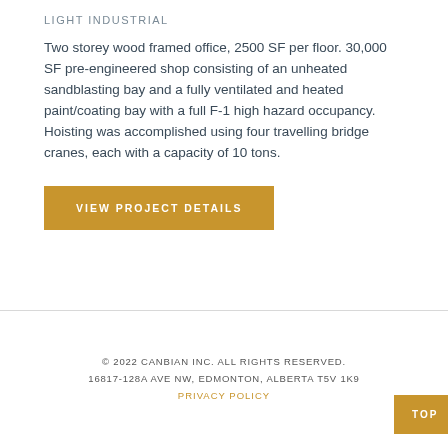LIGHT INDUSTRIAL
Two storey wood framed office, 2500 SF per floor. 30,000 SF pre-engineered shop consisting of an unheated sandblasting bay and a fully ventilated and heated paint/coating bay with a full F-1 high hazard occupancy. Hoisting was accomplished using four travelling bridge cranes, each with a capacity of 10 tons.
VIEW PROJECT DETAILS
© 2022 CANBIAN INC. ALL RIGHTS RESERVED.
16817-128A AVE NW, EDMONTON, ALBERTA T5V 1K9
PRIVACY POLICY